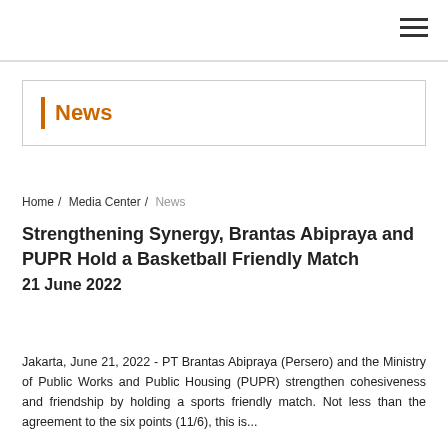News
Home / Media Center / News
Strengthening Synergy, Brantas Abipraya and PUPR Hold a Basketball Friendly Match
21 June 2022
Jakarta, June 21, 2022 - PT Brantas Abipraya (Persero) and the Ministry of Public Works and Public Housing (PUPR) strengthen cohesiveness and friendship by holding a sports friendly match. Not less than the s...